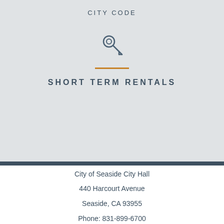CITY CODE
[Figure (illustration): Key icon in dark teal/slate color]
SHORT TERM RENTALS
City of Seaside City Hall
440 Harcourt Avenue
Seaside, CA 93955
Phone: 831-899-6700
Contact Us
Home
Site Map
Accessibility